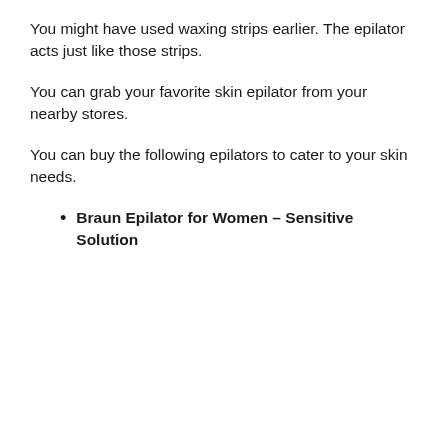You might have used waxing strips earlier. The epilator acts just like those strips.
You can grab your favorite skin epilator from your nearby stores.
You can buy the following epilators to cater to your skin needs.
Braun Epilator for Women – Sensitive Solution